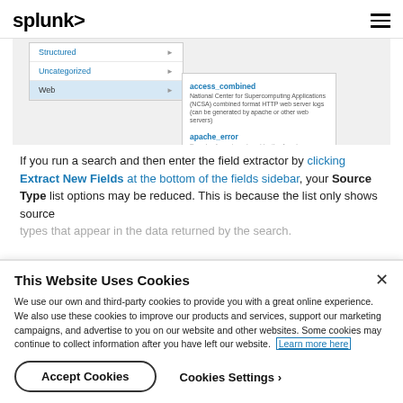splunk>
[Figure (screenshot): Splunk source type dropdown menu showing 'Structured', 'Uncategorized', and 'Web' options with a submenu showing 'access_combined' and 'apache_error' items]
If you run a search and then enter the field extractor by clicking Extract New Fields at the bottom of the fields sidebar, your Source Type list options may be reduced. This is because the list only shows source types that appear in the data returned by the search.
This Website Uses Cookies
We use our own and third-party cookies to provide you with a great online experience. We also use these cookies to improve our products and services, support our marketing campaigns, and advertise to you on our website and other websites. Some cookies may continue to collect information after you have left our website. Learn more here
Accept Cookies   Cookies Settings ›